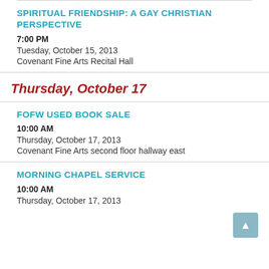SPIRITUAL FRIENDSHIP: A GAY CHRISTIAN PERSPECTIVE
7:00 PM
Tuesday, October 15, 2013
Covenant Fine Arts Recital Hall
Thursday, October 17
FOFW USED BOOK SALE
10:00 AM
Thursday, October 17, 2013
Covenant Fine Arts second floor hallway east
MORNING CHAPEL SERVICE
10:00 AM
Thursday, October 17, 2013